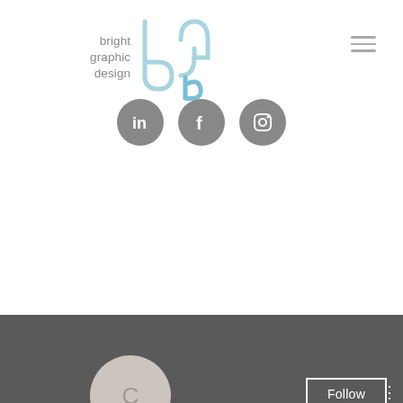[Figure (logo): Bright Graphic Design logo with stylized 'bgd' letterform in light blue and text 'bright graphic design' in gray]
[Figure (infographic): Row of three gray social media icon circles: LinkedIn, Facebook, Instagram]
[Figure (screenshot): Social media profile page screenshot showing dark gray banner, circular avatar with letter C, Follow button, profile name 'Crypto exchange game', 0 Followers, 0 Following, and floating mail button]